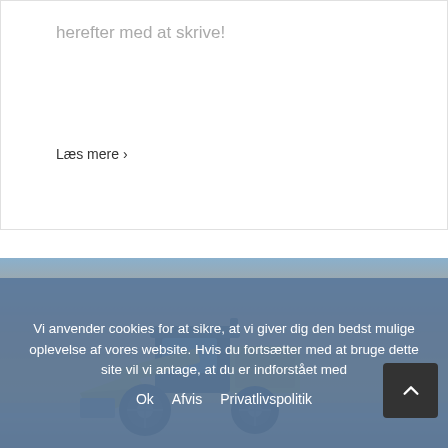herefter med at skrive!
Læs mere >
[Figure (photo): Wheel loader / bulldozer construction vehicle photographed against a sunset sky near water or beach. The machine is yellow with black details, shown from a front-side angle with the bucket lowered.]
Vi anvender cookies for at sikre, at vi giver dig den bedst mulige oplevelse af vores website. Hvis du fortsætter med at bruge dette site vil vi antage, at du er indforstået med
Ok   Afvis   Privatlivspolitik